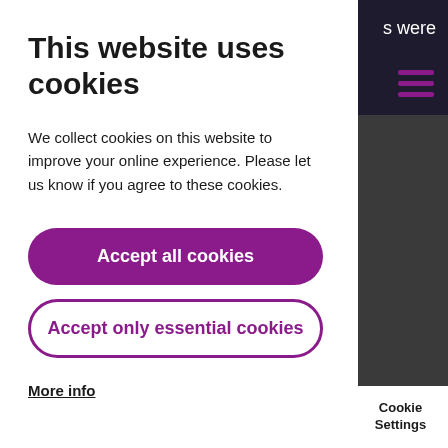This website uses cookies
We collect cookies on this website to improve your online experience. Please let us know if you agree to these cookies.
Accept all cookies
Accept only essential cookies
More info
s were
Cookie Settings